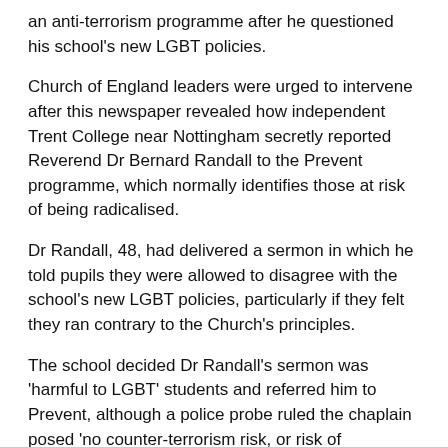an anti-terrorism programme after he questioned his school's new LGBT policies.
Church of England leaders were urged to intervene after this newspaper revealed how independent Trent College near Nottingham secretly reported Reverend Dr Bernard Randall to the Prevent programme, which normally identifies those at risk of being radicalised.
Dr Randall, 48, had delivered a sermon in which he told pupils they were allowed to disagree with the school's new LGBT policies, particularly if they felt they ran contrary to the Church's principles.
The school decided Dr Randall's sermon was 'harmful to LGBT' students and referred him to Prevent, although a police probe ruled the chaplain posed 'no counter-terrorism risk, or risk of radicalisation'.
Recommended: